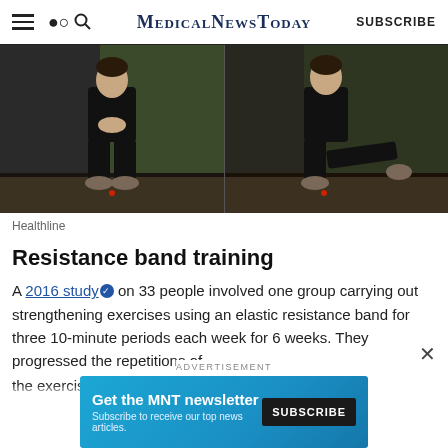MedicalNewsToday  SUBSCRIBE
[Figure (photo): Two side-by-side exercise photos showing a person in black workout clothes performing resistance band exercises against a green/grey background. Left image shows the person in a squat-like stance with hands together; right image shows the person with one leg extended to the side.]
Healthline
Resistance band training
A 2016 study on 33 people involved one group carrying out strengthening exercises using an elastic resistance band for three 10-minute periods each week for 6 weeks. They progressed the repetitions of the exercises over time...
ADVERTISEMENT
[Figure (other): Advertisement banner for MNT newsletter: 'Get the MNT newsletter - Subscribe to receive our top news articles.' with a SUBSCRIBE button.]